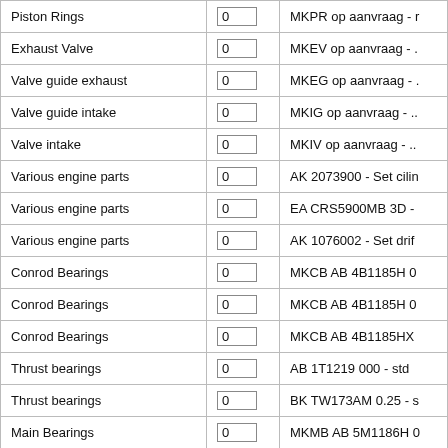| Part Name | Qty | Code/Description |
| --- | --- | --- |
| Piston Rings | 0 | MKPR op aanvraag - r |
| Exhaust Valve | 0 | MKEV op aanvraag - . |
| Valve guide exhaust | 0 | MKEG op aanvraag - . |
| Valve guide intake | 0 | MKIG op aanvraag - .. |
| Valve intake | 0 | MKIV op aanvraag - .. |
| Various engine parts | 0 | AK 2073900 - Set cilin |
| Various engine parts | 0 | EA CRS5900MB 3D - |
| Various engine parts | 0 | AK 1076002 - Set drif |
| Conrod Bearings | 0 | MKCB AB 4B1185H 0 |
| Conrod Bearings | 0 | MKCB AB 4B1185H 0 |
| Conrod Bearings | 0 | MKCB AB 4B1185HX |
| Thrust bearings | 0 | AB 1T1219 000 - std |
| Thrust bearings | 0 | BK TW173AM 0.25 - s |
| Main Bearings | 0 | MKMB AB 5M1186H 0 |
| Main Bearings | 0 | MKMB AB 5M1186H 0 |